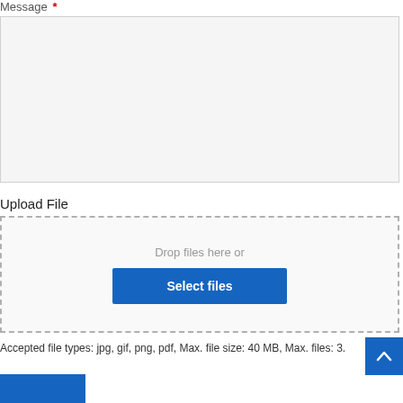Message *
[Figure (screenshot): Empty textarea input box with light grey background and thin border]
Upload File
[Figure (screenshot): File upload drop zone with dashed border, 'Drop files here or' text, and a blue 'Select files' button]
Accepted file types: jpg, gif, png, pdf, Max. file size: 40 MB, Max. files: 3.
[Figure (screenshot): Blue scroll-to-top button with upward chevron arrow]
[Figure (screenshot): Blue submit button (partially visible at bottom left)]